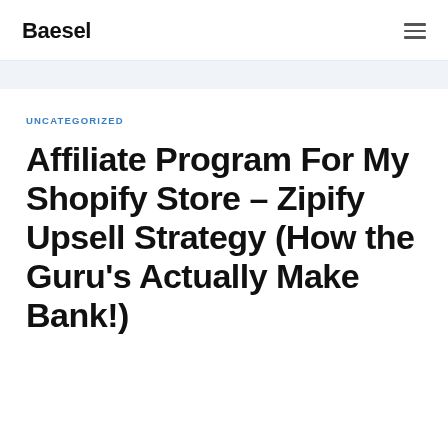Baesel
UNCATEGORIZED
Affiliate Program For My Shopify Store – Zipify Upsell Strategy (How the Guru's Actually Make Bank!)